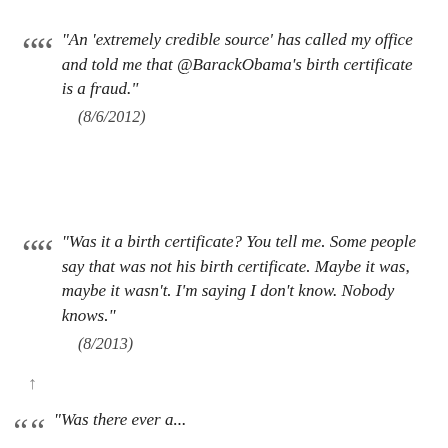“An ‘extremely credible source’ has called my office and told me that @BarackObama’s birth certificate is a fraud.”
(8/6/2012)
“Was it a birth certificate? You tell me. Some people say that was not his birth certificate. Maybe it was, maybe it wasn’t. I’m saying I don’t know. Nobody knows.”
(8/2013)
↑
“Was there ever a...